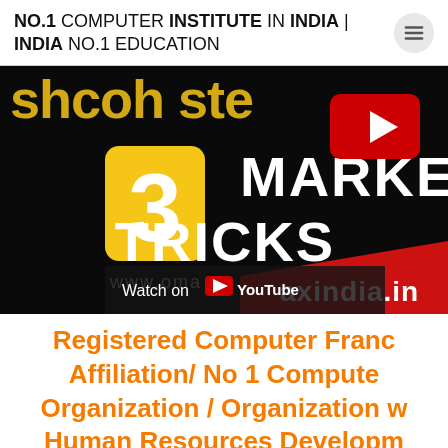NO.1 COMPUTER INSTITUTE IN INDIA | INDIA NO.1 EDUCATION
[Figure (screenshot): YouTube video thumbnail showing '3 MARKETING TRICKS' text in white on black background with yellow number 3 box, red YouTube play button, and 'Watch on YouTube' overlay with 'axindia.in' red banner]
Registered Computer Franchise Affiliation/ No 1 Computer Organization / Organization with Human Resources Development